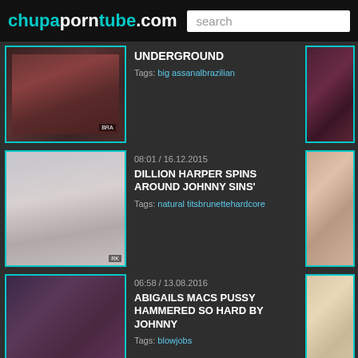chupaporntube.com
UNDERGROUND
Tags: big assanalbrazilian
08:01 / 16.12.2015
DILLION HARPER SPINS AROUND JOHNNY SINS'
Tags: natural titsbrunettehardcore
06:58 / 13.08.2016
ABIGAILS MACS PUSSY HAMMERED SO HARD BY JOHNNY
Tags: blowjobs